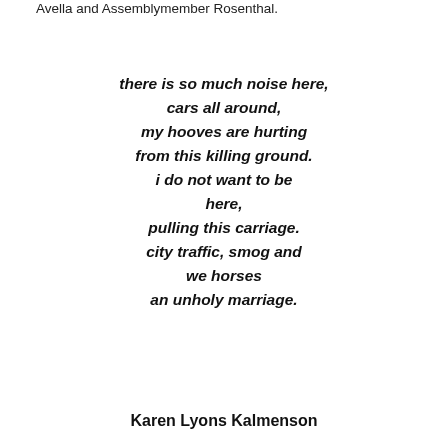Avella and Assemblymember Rosenthal.
there is so much noise here,
cars all around,
my hooves are hurting
from this killing ground.
i do not want to be
here,
pulling this carriage.
city traffic, smog and
we horses
an unholy marriage.
Karen Lyons Kalmenson